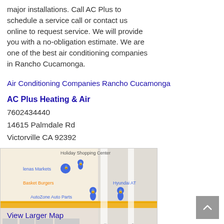major installations. Call AC Plus to schedule a service call or contact us online to request service. We will provide you with a no-obligation estimate. We are one of the best air conditioning companies in Rancho Cucamonga.
Air Conditioning Companies Rancho Cucamonga
AC Plus Heating & Air
7602434440
14615 Palmdale Rd
Victorville CA 92392
[Figure (map): Google Maps embed showing the area around 14615 Palmdale Rd, Victorville CA, with landmarks including Stater Brothers Markets, Basket Burgers, AutoZone Auto Parts, Hyundai AT, and Anacapa Rd. Several blue map pin markers and one pink map pin are visible.]
View Larger Map